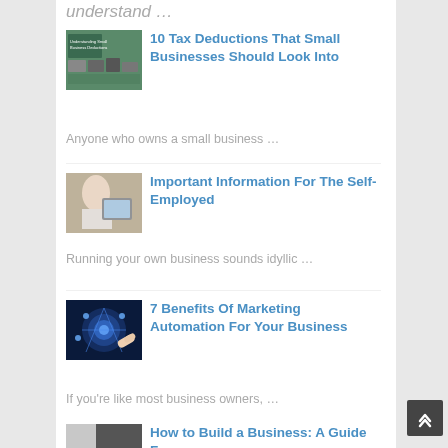understand …
10 Tax Deductions That Small Businesses Should Look Into
Anyone who owns a small business …
[Figure (photo): Thumbnail image for '10 Tax Deductions That Small Businesses Should Look Into' showing a desk with business documents and devices]
Important Information For The Self-Employed
Running your own business sounds idyllic …
[Figure (photo): Thumbnail image for 'Important Information For The Self-Employed' showing a woman working on a tablet]
7 Benefits Of Marketing Automation For Your Business
If you're like most business owners, …
[Figure (photo): Thumbnail image for '7 Benefits Of Marketing Automation For Your Business' showing a digital network with glowing blue circles]
How to Build a Business: A Guide For …